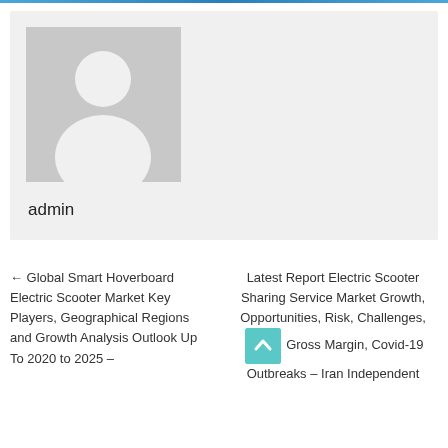[Figure (illustration): Default avatar placeholder image showing a generic person silhouette (white figure on grey background)]
admin
← Global Smart Hoverboard Electric Scooter Market Key Players, Geographical Regions and Growth Analysis Outlook Up To 2020 to 2025 –
Latest Report Electric Scooter Sharing Service Market Growth, Opportunities, Risk, Challenges, Gross Margin, Covid-19 Outbreaks – Iran Independent